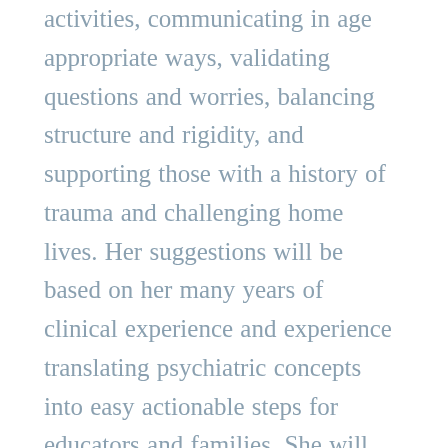activities, communicating in age appropriate ways, validating questions and worries, balancing structure and rigidity, and supporting those with a history of trauma and challenging home lives. Her suggestions will be based on her many years of clinical experience and experience translating psychiatric concepts into easy actionable steps for educators and families. She will also discuss how taking care of ourselves and building our own resilience allows us to better continue to support children and families and allows us to boost our, and their, capacity to endure and